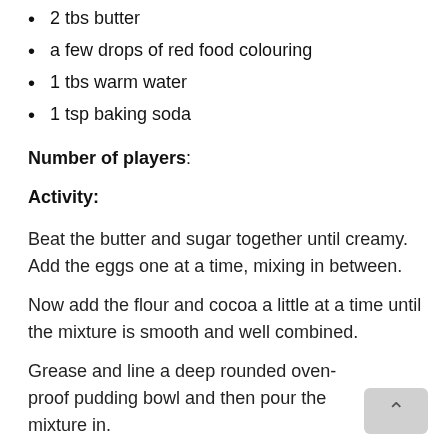2 tbs butter
a few drops of red food colouring
1 tbs warm water
1 tsp baking soda
Number of players:
Activity:
Beat the butter and sugar together until creamy. Add the eggs one at a time, mixing in between.
Now add the flour and cocoa a little at a time until the mixture is smooth and well combined.
Grease and line a deep rounded oven-proof pudding bowl and then pour the mixture in.